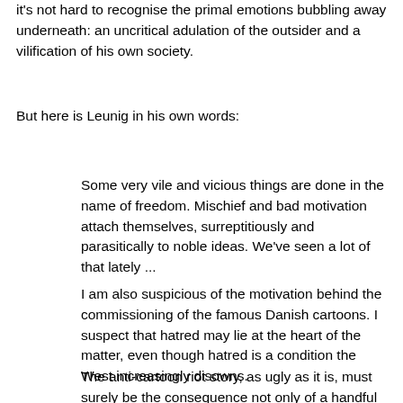it's not hard to recognise the primal emotions bubbling away underneath: an uncritical adulation of the outsider and a vilification of his own society.
But here is Leunig in his own words:
Some very vile and vicious things are done in the name of freedom. Mischief and bad motivation attach themselves, surreptitiously and parasitically to noble ideas. We've seen a lot of that lately ...
I am also suspicious of the motivation behind the commissioning of the famous Danish cartoons. I suspect that hatred may lie at the heart of the matter, even though hatred is a condition the West increasingly disowns.
The anti-cartoon riot story, as ugly as it is, must surely be the consequence not only of a handful of dull cartoon cliches, but of the accumulated anger resulting from the humiliation.